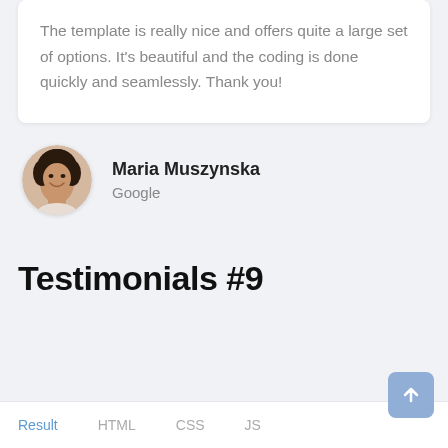The template is really nice and offers quite a large set of options. It's beautiful and the coding is done quickly and seamlessly. Thank you!
[Figure (photo): Circular avatar photo of Maria Muszynska, a woman with short curly dark hair, smiling]
Maria Muszynska
Google
Testimonials #9
Result   HTML   CSS   JS